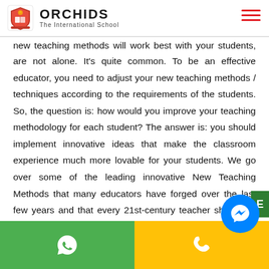ORCHIDS The International School
new teaching methods will work best with your students, then you are not alone. It's quite common. To be an effective educator, you need to adjust your new teaching methods / techniques according to the requirements of the students. So, the question is: how would you improve your teaching methodology for each student? The answer is: you should implement innovative ideas that make the classroom experience much more lovable for your students. We go over some of the leading innovative New Teaching Methods that many educators have forged over the last few years and that every 21st-century teacher should be acquainted with.